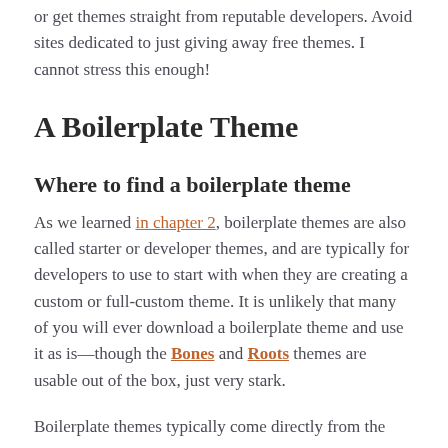or get themes straight from reputable developers. Avoid sites dedicated to just giving away free themes. I cannot stress this enough!
A Boilerplate Theme
Where to find a boilerplate theme
As we learned in chapter 2, boilerplate themes are also called starter or developer themes, and are typically for developers to use to start with when they are creating a custom or full-custom theme. It is unlikely that many of you will ever download a boilerplate theme and use it as is—though the Bones and Roots themes are usable out of the box, just very stark.
Boilerplate themes typically come directly from the